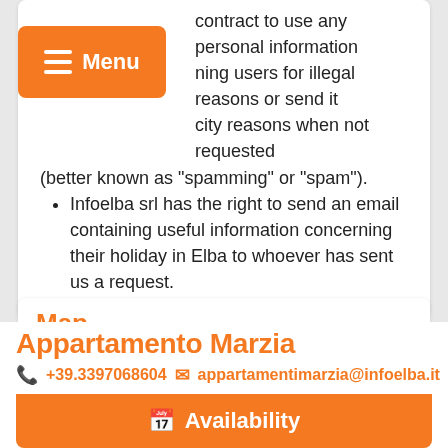contract to use any personal information ning users for illegal reasons or send it city reasons when not requested (better known as "spamming" or "spam").
Infoelba srl has the right to send an email containing useful information concerning their holiday in Elba to whoever has sent us a request.
Map
[Figure (map): Map showing Procchio area with zoom controls]
Appartamento Marzia
+39.3397068604 appartamentimarzia@infoelba.it
Availability